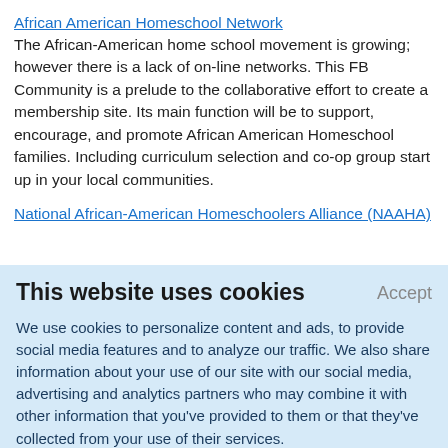African American Homeschool Network
The African-American home school movement is growing; however there is a lack of on-line networks. This FB Community is a prelude to the collaborative effort to create a membership site. Its main function will be to support, encourage, and promote African American Homeschool families. Including curriculum selection and co-op group start up in your local communities.
National African-American Homeschoolers Alliance (NAAHA)
This website uses cookies
Accept
We use cookies to personalize content and ads, to provide social media features and to analyze our traffic. We also share information about your use of our site with our social media, advertising and analytics partners who may combine it with other information that you've provided to them or that they've collected from your use of their services.
Learn More.
African-American support groups and organizations. In